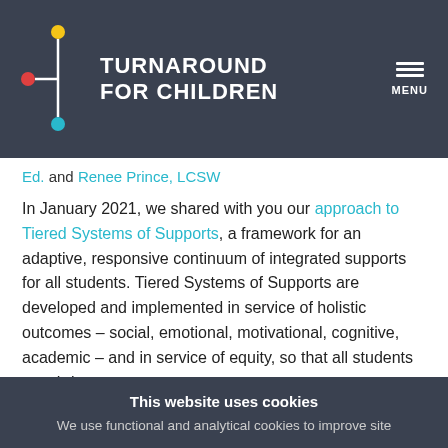TURNAROUND FOR CHILDREN
Ed. and Renee Prince, LCSW
In January 2021, we shared with you our approach to Tiered Systems of Supports, a framework for an adaptive, responsive continuum of integrated supports for all students. Tiered Systems of Supports are developed and implemented in service of holistic outcomes – social, emotional, motivational, cognitive, academic – and in service of equity, so that all students can thrive.
However, based on their context, schools will have
This website uses cookies
We use functional and analytical cookies to improve site